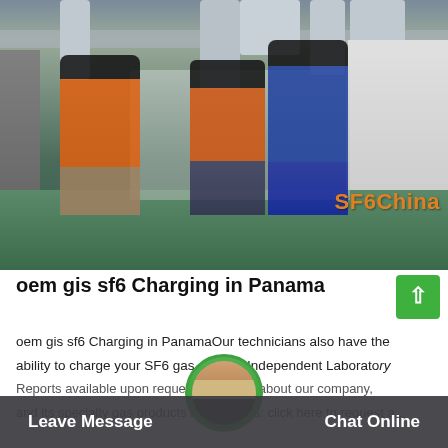[Figure (photo): Photo of three workers in protective gear inside an industrial facility with pipes and equipment. Two workers wear orange jackets, one wears blue. Green floor, overhead piping visible. SF6China watermark in orange text.]
oem gis sf6 Charging in Panama
oem gis sf6 Charging in PanamaOur technicians also have the ability to charge your SF6 gas equipment. Independent Laboratory Reports available upon request. Learn more about our company, and its specialty gas products and services: click here to request a...